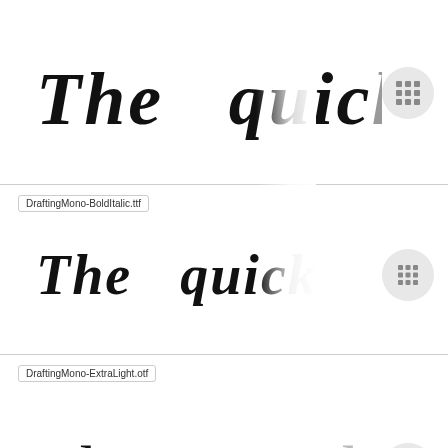[Figure (screenshot): Font preview for DraftingMono BoldItalic (large) showing 'The quick' in bold italic serif style with a grid icon button]
DraftingMono-BoldItalic.ttf
[Figure (screenshot): Font preview for DraftingMono-BoldItalic.ttf showing 'The quick' in bold italic monospace style with a grid icon button]
DraftingMono-ExtraLight.otf
[Figure (screenshot): Font preview for DraftingMono-ExtraLight.otf showing 'The quick' in extra light serif style with a grid icon button]